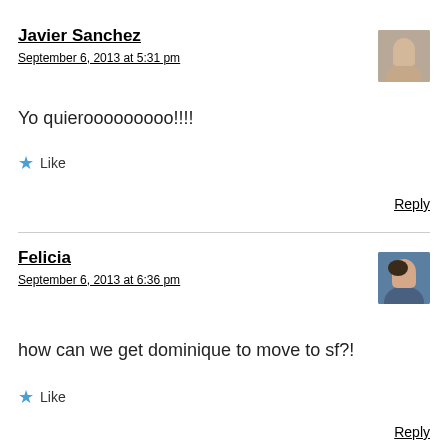Javier Sanchez
September 6, 2013 at 5:31 pm
Yo quierooooooooo!!!!
Like
Reply
Felicia
September 6, 2013 at 6:36 pm
how can we get dominique to move to sf?!
Like
Reply